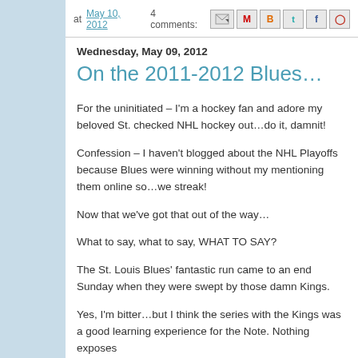at May 10, 2012   4 comments:
Wednesday, May 09, 2012
On the 2011-2012 Blues…
For the uninitiated – I'm a hockey fan and adore my beloved St. checked NHL hockey out…do it, damnit!
Confession – I haven't blogged about the NHL Playoffs because Blues were winning without my mentioning them online so…we streak!
Now that we've got that out of the way…
What to say, what to say, WHAT TO SAY?
The St. Louis Blues' fantastic run came to an end Sunday when they were swept by those damn Kings.
Yes, I'm bitter…but I think the series with the Kings was a good learning experience for the Note.  Nothing exposes